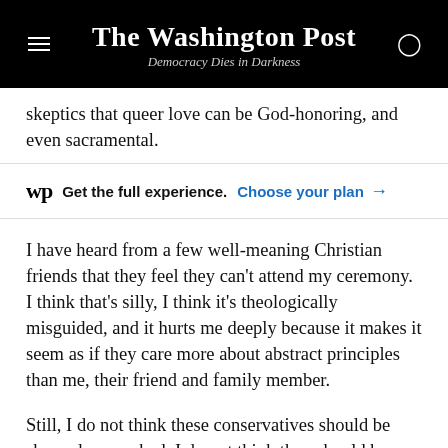The Washington Post
Democracy Dies in Darkness
skeptics that queer love can be God-honoring, and even sacramental.
Get the full experience. Choose your plan →
I have heard from a few well-meaning Christian friends that they feel they can't attend my ceremony. I think that's silly, I think it's theologically misguided, and it hurts me deeply because it makes it seem as if they care more about abstract principles than me, their friend and family member.
Still, I do not think these conservatives should be shamed or mocked. I do not think they should be fired